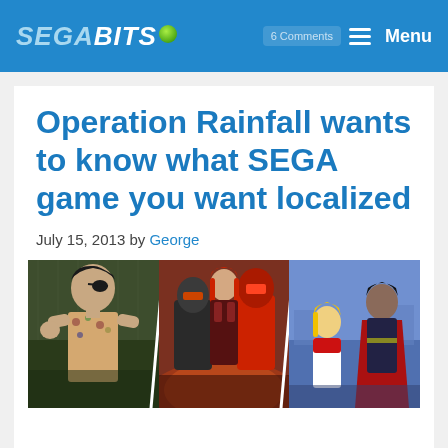SEGAbits — Menu
Operation Rainfall wants to know what SEGA game you want localized
July 15, 2013 by George
[Figure (photo): Three-panel composite image showing SEGA game characters: left panel shows a yakuza-style character with eyepatch, middle panel shows armored characters in action, right panel shows anime-style RPG characters.]